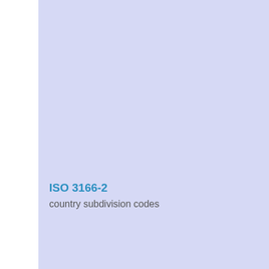EH · ER · ES · ET · FI · FJ · FK · FM · FO · FR · GA · GB · GD · GE · GF · GG · GH · GI · GL · GM · GN · GP · GQ · GR · GS · GT · GU · GW · GY · HK · HM · HN · HR · HT · HU · ID · IE · IL · IM · IN · IO · IQ · IR · IS · IT · JE · JM · JO · JP · KE · KG · KH · KI · KM · KN · KP · KR · KW · KY · KZ · LA · LB · LC · LI · LK · LR · LS · LT · LU · LV · LY · MA · MC · MD · ME · MF · MG · MH · MK · ML · MM · MN · MO · MP · MQ · MR · MS · MT · MU · MV · MW · MX · MY · MZ ·
ISO 3166-2
country subdivision codes